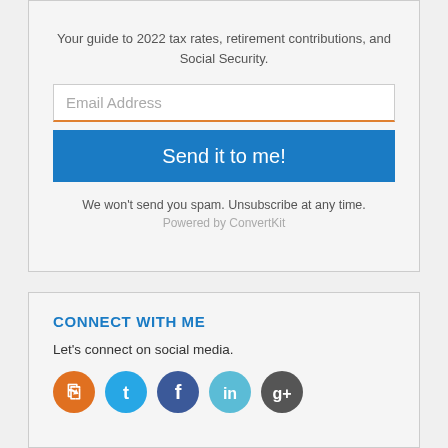Your guide to 2022 tax rates, retirement contributions, and Social Security.
Email Address
Send it to me!
We won't send you spam. Unsubscribe at any time.
Powered by ConvertKit
CONNECT WITH ME
Let's connect on social media.
[Figure (illustration): Social media icons: RSS (orange), Twitter (blue), Facebook (dark blue), LinkedIn (light blue), Google+ (dark gray)]